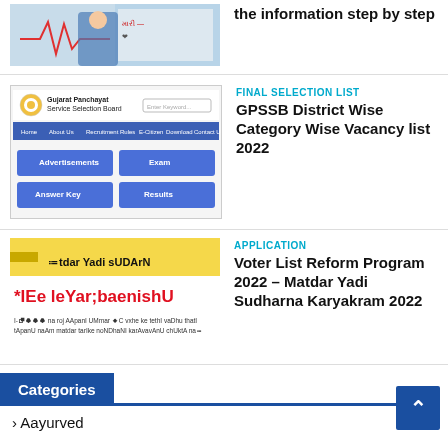[Figure (screenshot): Medical/health related image with heartbeat line graphic in red and blue, with Gujarati text]
the information step by step
[Figure (screenshot): Gujarat Panchayat Service Selection Board website screenshot showing navigation menu and blue buttons for Advertisements, Exam, Answer Key, Results]
FINAL SELECTION LIST
GPSSB District Wise Category Wise Vacancy list 2022
[Figure (screenshot): Voter list reform program image with yellow background and Gujarati text 'matdar yadi sudharan' and red text]
APPLICATION
Voter List Reform Program 2022 – Matdar Yadi Sudharna Karyakram 2022
Categories
› Aayurved